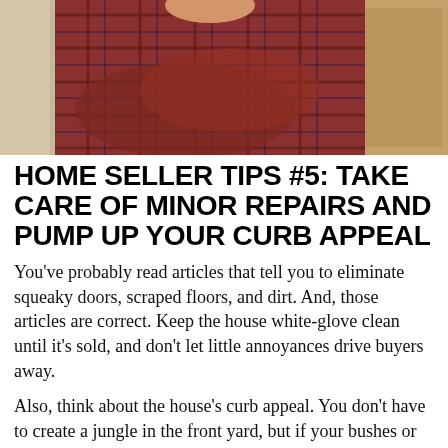[Figure (photo): Person in a red and blue plaid flannel shirt with arms crossed, photographed from roughly chest-level up against a light wooden background]
HOME SELLER TIPS #5: TAKE CARE OF MINOR REPAIRS AND PUMP UP YOUR CURB APPEAL
You’ve probably read articles that tell you to eliminate squeaky doors, scraped floors, and dirt. And, those articles are correct. Keep the house white-glove clean until it’s sold, and don’t let little annoyances drive buyers away.
Also, think about the house’s curb appeal. You don’t have to create a jungle in the front yard, but if your bushes or flowering plants have seen better days,